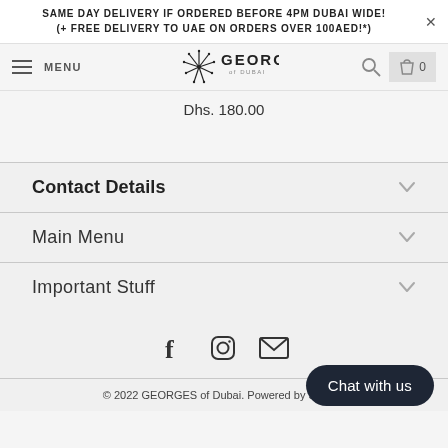SAME DAY DELIVERY IF ORDERED BEFORE 4PM DUBAI WIDE!
(+ FREE DELIVERY TO UAE ON ORDERS OVER 100AED!*)
[Figure (logo): GEORGES of Dubai logo with stylized palm tree/firework graphic]
Dhs. 180.00
Contact Details
Main Menu
Important Stuff
[Figure (infographic): Social media icons: Facebook, Instagram, Email]
Chat with us
© 2022 GEORGES of Dubai. Powered by Shopify